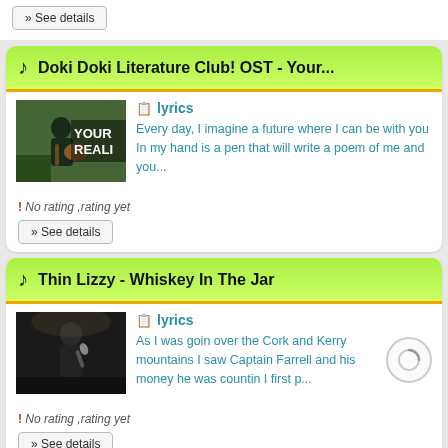» See details
Doki Doki Literature Club! OST - Your...
[Figure (photo): Thumbnail image showing a person playing guitar outdoors with text 'YOUR REALI' overlaid]
lyrics
Every day, I imagine a future where I can be with you In my hand is a pen that will write a poem of me and you...
! No rating ,rating yet
» See details
Thin Lizzy - Whiskey In The Jar
[Figure (photo): Thumbnail image showing a performer with a microphone on stage]
lyrics
As I was goin over the Cork and Kerry mountains I saw Captain Farrell and his money he was countin I first p...
! No rating ,rating yet
» See details